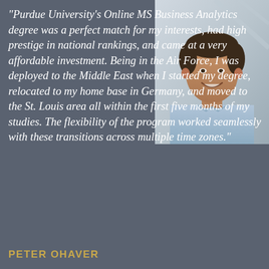[Figure (photo): Headshot photo of Peter Ohaver, a man in a light blue button-up shirt, smiling, positioned in the upper right of the page against a blurred indoor background.]
"Purdue University's Online MS Business Analytics degree was a perfect match for my interests, had high prestige in national rankings, and came at a very affordable investment. Being in the Air Force, I was deployed to the Middle East when I started my degree, relocated to my home base in Germany, and moved to the St. Louis area all within the first five months of my studies. The flexibility of the program worked seamlessly with these transitions across multiple time zones."
PETER OHAVER